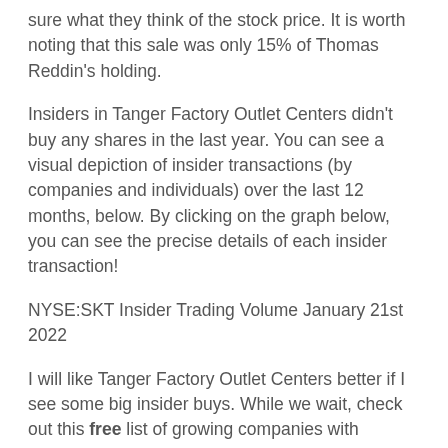sure what they think of the stock price. It is worth noting that this sale was only 15% of Thomas Reddin's holding.
Insiders in Tanger Factory Outlet Centers didn't buy any shares in the last year. You can see a visual depiction of insider transactions (by companies and individuals) over the last 12 months, below. By clicking on the graph below, you can see the precise details of each insider transaction!
NYSE:SKT Insider Trading Volume January 21st 2022
I will like Tanger Factory Outlet Centers better if I see some big insider buys. While we wait, check out this free list of growing companies with considerable, recent, insider buying.